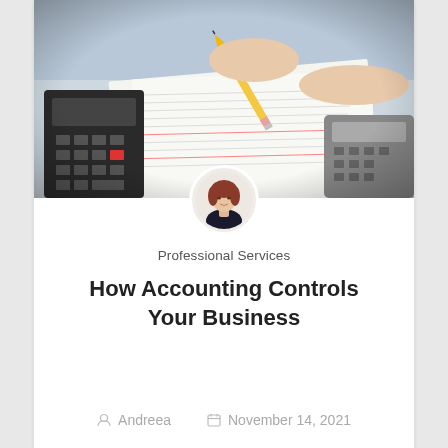[Figure (photo): Person writing on financial documents with a pencil; a calculator visible on the left and a telephone on the right on a desk.]
[Figure (photo): Circular avatar portrait of a woman with auburn hair, wearing dark top.]
Professional Services
How Accounting Controls Your Business
Andreea   November 14, 2021